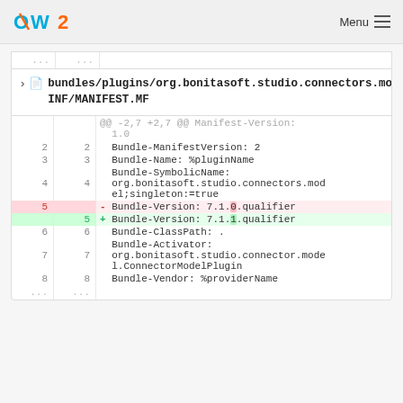OW2  Menu
| old | new | code |
| --- | --- | --- |
| ... | ... |  |
|  |  | @@ -2,7 +2,7 @@ Manifest-Version: 1.0 |
| 2 | 2 | Bundle-ManifestVersion: 2 |
| 3 | 3 | Bundle-Name: %pluginName |
| 4 | 4 | Bundle-SymbolicName: org.bonitasoft.studio.connectors.model;singleton:=true |
| 5 |  | - Bundle-Version: 7.1.0.qualifier |
|  | 5 | + Bundle-Version: 7.1.1.qualifier |
| 6 | 6 | Bundle-ClassPath: . |
| 7 | 7 | Bundle-Activator: org.bonitasoft.studio.connector.model.ConnectorModelPlugin |
| 8 | 8 | Bundle-Vendor: %providerName |
| ... | ... |  |